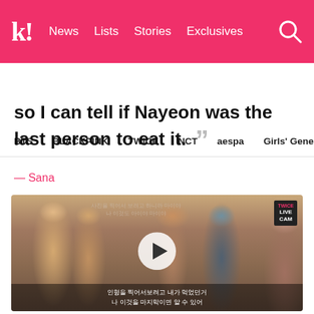k! News  Lists  Stories  Exclusives
BTS  BLACKPINK  TWICE  NCT  aespa  Girls' Generation
so I can tell if Nayeon was the last person to eat it. ””
— Sana
[Figure (photo): Video thumbnail showing TWICE members sitting together in a room, with a play button overlay and Korean subtitle text at the bottom. TWICE LIVE CAM badge in top right corner.]